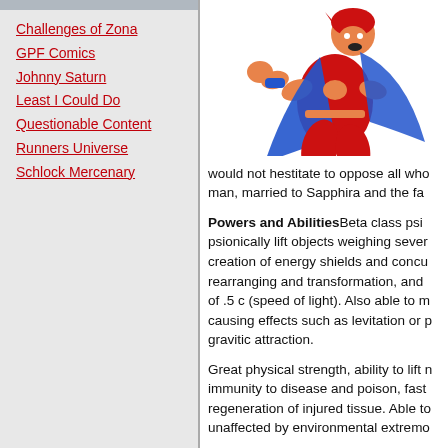Challenges of Zona
GPF Comics
Johnny Saturn
Least I Could Do
Questionable Content
Runners Universe
Schlock Mercenary
[Figure (illustration): A superhero character in red and blue costume, flying or leaping with fists forward, wearing an orange mask/helmet, with a blue cape.]
would not hestitate to oppose all who man, married to Sapphira and the fa
Powers and AbilitiesBeta class psi psionically lift objects weighing sever creation of energy shields and concu rearranging and transformation, and of .5 c (speed of light). Also able to m causing effects such as levitation or p gravitic attraction.
Great physical strength, ability to lift n immunity to disease and poison, fast regeneration of injured tissue. Able to unaffected by environmental extremo